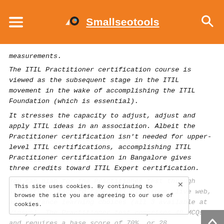[Figure (logo): Smallseotools website header with orange background, hamburger menu icon, Smallseotools logo with blender icon, and search icon]
measurements.
The ITIL Practitioner certification course is viewed as the subsequent stage in the ITIL movement in the wake of accomplishing the ITIL Foundation (which is essential).
It stresses the capacity to adjust, adjust and apply ITIL ideas in an association. Albeit the Practitioner certification isn't needed for upper-level ITIL certifications, accomplishing ITIL Practitioner certification in Bangalore gives three credits toward ITIL Expert certification.
You can plan for the Practitioner test through self-study, face-to-face, all classroom, live web, and distance learning choices (all 3 available at Vinsys). The Practitioner test comprises 40 MCQs and requires a base score of 70%, or 28
This site uses cookies. By continuing to browse the site you are agreeing to our use of cookies.